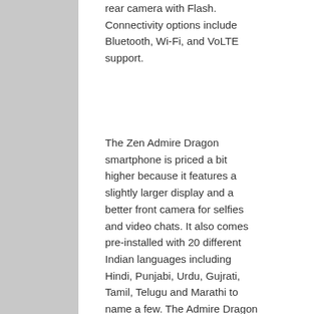rear camera with Flash. Connectivity options include Bluetooth, Wi-Fi, and VoLTE support.
The Zen Admire Dragon smartphone is priced a bit higher because it features a slightly larger display and a better front camera for selfies and video chats. It also comes pre-installed with 20 different Indian languages including Hindi, Punjabi, Urdu, Gujrati, Tamil, Telugu and Marathi to name a few. The Admire Dragon features a 5-inch IPS display with 2.5D curved glass protection. It sports a 5-megapixel front camera, and the rear camera also supports auto focus capabilities. It packs a 2500mAh battery, and comes pre-loaded with apps like NexGTv, Opera Mini, Saavn, Zen AppCloud, Zen Game Store, ZENCare, and QR Code scanner. Zen is also offering a one-time screen breakage replacement with the